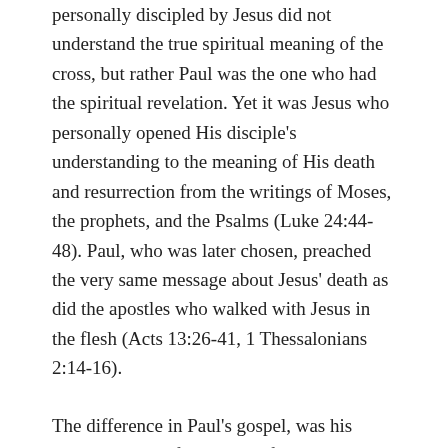personally discipled by Jesus did not understand the true spiritual meaning of the cross, but rather Paul was the one who had the spiritual revelation. Yet it was Jesus who personally opened His disciple's understanding to the meaning of His death and resurrection from the writings of Moses, the prophets, and the Psalms (Luke 24:44-48). Paul, who was later chosen, preached the very same message about Jesus' death as did the apostles who walked with Jesus in the flesh (Acts 13:26-41, 1 Thessalonians 2:14-16).
The difference in Paul's gospel, was his understanding of the grace of God towards the Gentiles and specifically how the Jew and Gentile have become "one new man" in Christ Jesus.
Paul's persecutors, those who opposed his message of